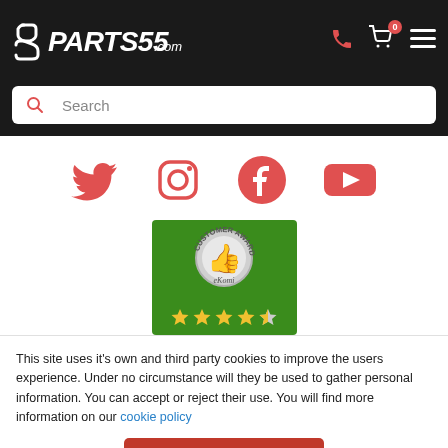[Figure (logo): Parts55.com logo on black header bar with phone, cart, and menu icons]
[Figure (screenshot): Search bar with red search icon and placeholder text 'Search']
[Figure (infographic): Social media icons row: Twitter, Instagram, Facebook, YouTube in red/coral color]
[Figure (photo): eKomi Customer Award badge on green background with 4.5 star rating]
This site uses it's own and third party cookies to improve the users experience. Under no circumstance will they be used to gather personal information. You can accept or reject their use. You will find more information on our cookie policy
ACCEPT COOKIES
MODIFY CONFIGURATION